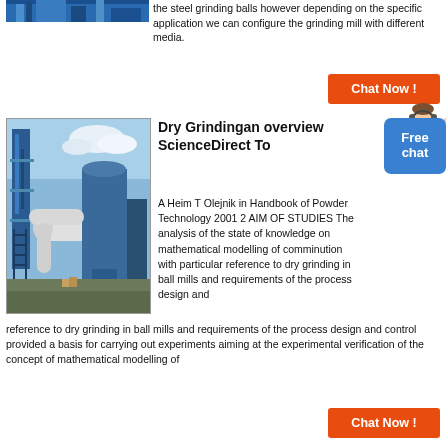[Figure (photo): Partial view of industrial grinding mill equipment with blue metal structure]
the steel grinding balls however depending on the specific application we can configure the grinding mill with different media.
[Figure (other): Chat Now! button in orange/red]
[Figure (photo): Industrial ball mill facility with large pipes, blue steel structure, and silos against a cloudy sky]
Dry Grindingan overview ScienceDirect To
[Figure (other): Free chat badge and agent icon]
A Heim T Olejnik in Handbook of Powder Technology 2001 2 AIM OF STUDIES The analysis of the state of knowledge on mathematical modelling of comminution with particular reference to dry grinding in ball mills and requirements of the process design and control provided a basis for carrying out experiments aiming at the experimental verification of the concept of mathematical modelling of
[Figure (other): Chat Now! button in orange/red]